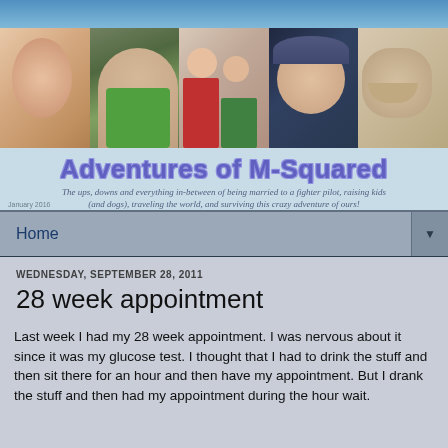[Figure (photo): Blog header banner with photo collage of children and a dog, sky background, blog title 'Adventures of M-Squared' and tagline below]
Adventures of M-Squared
The ups, downs and everything in-between of being married to a fighter pilot, raising kids (and dogs), traveling the world, and surviving this crazy adventure of ours!
Home
WEDNESDAY, SEPTEMBER 28, 2011
28 week appointment
Last week I had my 28 week appointment.  I was nervous about it since it was my glucose test.  I thought that I had to drink the stuff and then sit there for an hour and then have my appointment.  But I drank the stuff and then had my appointment during the hour wait.